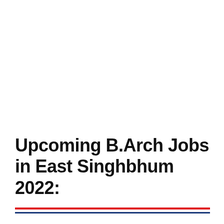Upcoming B.Arch Jobs in East Singhbhum 2022: